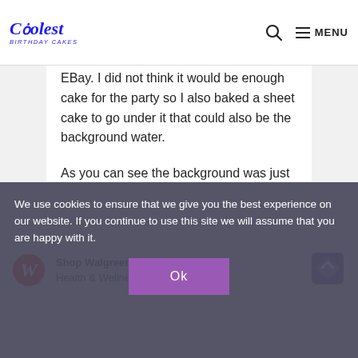Coolest Birthday Cakes
EBay. I did not think it would be enough cake for the party so I also baked a sheet cake to go under it that could also be the background water.
As you can see the background was just a smooth layer of butter cream icing. The ark and animals were butter cream star tips along with a round tip for the facial details and outlines.
We use cookies to ensure that we give you the best experience on our website. If you continue to use this site we will assume that you are happy with it.